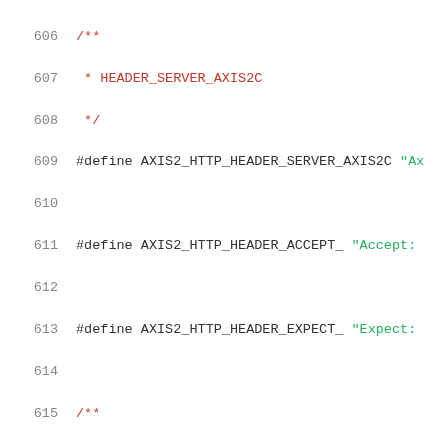Source code listing lines 606-627 showing C preprocessor #define macros for HTTP header constants in the AXIS2 library, with Doxygen-style comments.